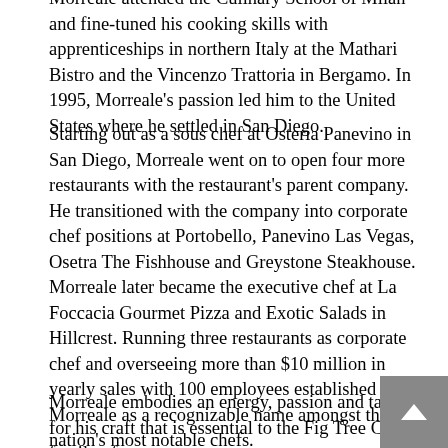Morreale attended the Culinary School of Milan and fine-tuned his cooking skills with apprenticeships in northern Italy at the Mathari Bistro and the Vincenzo Trattoria in Bergamo. In 1995, Morreale's passion led him to the United States where he settled in San Diego.
Starting out as a sous chef at Osteria Panevino in San Diego, Morreale went on to open four more restaurants with the restaurant's parent company. He transitioned with the company into corporate chef positions at Portobello, Panevino Las Vegas, Osetra The Fishhouse and Greystone Steakhouse. Morreale later became the executive chef at La Foccacia Gourmet Pizza and Exotic Salads in Hillcrest. Running three restaurants as corporate chef and overseeing more than $10 million in yearly sales with 100 employees established Morreale as a recognizable name amongst the nation's most notable chefs.
Morreale embodies an energy, passion and talent for his craft that is essential to the Fig Tree Café family of